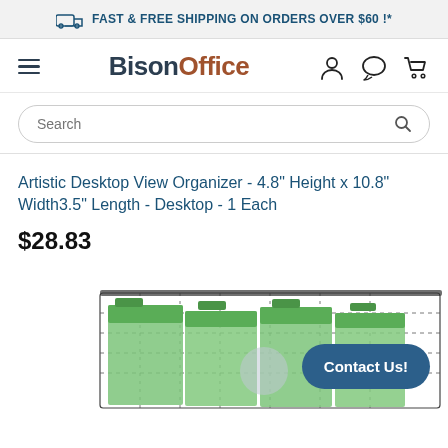FAST & FREE SHIPPING ON ORDERS OVER $60 !*
BisonOffice
Search
Artistic Desktop View Organizer - 4.8" Height x 10.8" Width3.5" Length - Desktop - 1 Each
$28.83
[Figure (photo): Partial view of a wire mesh desktop file organizer holding green hanging folders, photographed from above at an angle.]
Contact Us!